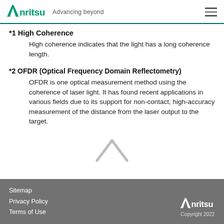Anritsu — Advancing beyond
*1 High Coherence
High coherence indicates that the light has a long coherence length.
*2 OFDR (Optical Frequency Domain Reflectometry)
OFDR is one optical measurement method using the coherence of laser light. It has found recent applications in various fields due to its support for non-contact, high-accuracy measurement of the distance from the laser output to the target.
[Figure (illustration): Light grey upward-pointing chevron/caret arrow (scroll-to-top button)]
Sitemap | Privacy Policy | Terms of Use | Anritsu Copyright 2022